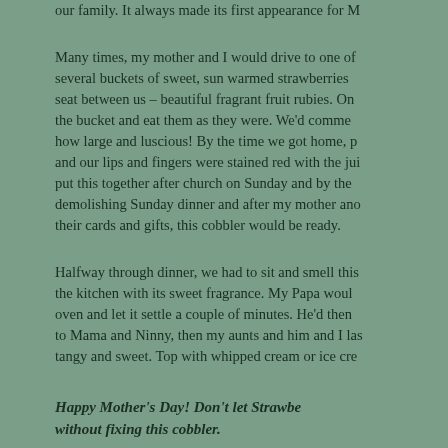our family. It always made its first appearance for M
Many times, my mother and I would drive to one of several buckets of sweet, sun warmed strawberries seat between us – beautiful fragrant fruit rubies. On the bucket and eat them as they were. We'd comme how large and luscious! By the time we got home, p and our lips and fingers were stained red with the jui put this together after church on Sunday and by the demolishing Sunday dinner and after my mother ano their cards and gifts, this cobbler would be ready.
Halfway through dinner, we had to sit and smell this the kitchen with its sweet fragrance. My Papa woul oven and let it settle a couple of minutes. He'd then to Mama and Ninny, then my aunts and him and I las tangy and sweet. Top with whipped cream or ice cre
Happy Mother's Day! Don't let Strawbe without fixing this cobbler.